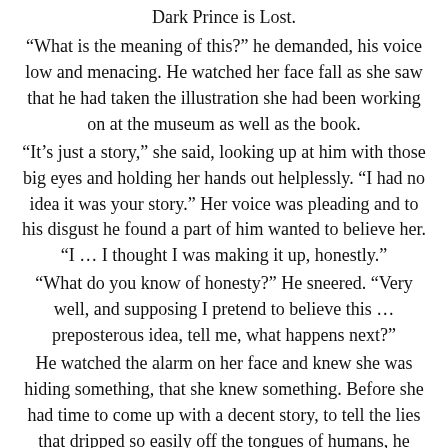Dark Prince is Lost.
“What is the meaning of this?” he demanded, his voice low and menacing. He watched her face fall as she saw that he had taken the illustration she had been working on at the museum as well as the book.
“It’s just a story,” she said, looking up at him with those big eyes and holding her hands out helplessly. “I had no idea it was your story.” Her voice was pleading and to his disgust he found a part of him wanted to believe her. “I … I thought I was making it up, honestly.”
“What do you know of honesty?” He sneered. “Very well, and supposing I pretend to believe this … preposterous idea, tell me, what happens next?”
He watched the alarm on her face and knew she was hiding something, that she knew something. Before she had time to come up with a decent story, to tell the lies that dripped so easily off the tongues of humans, he acted. He grabbed her by the wrists and slammed her up against the wall. He was so close; he knew she would feel his breath